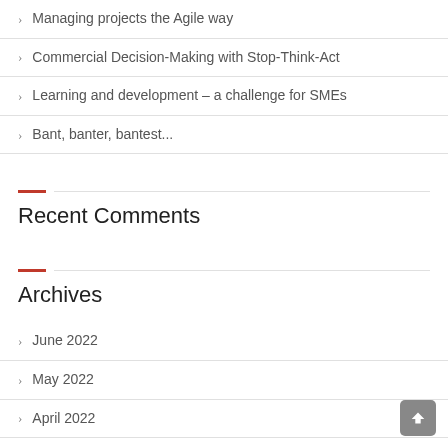Managing projects the Agile way
Commercial Decision-Making with Stop-Think-Act
Learning and development – a challenge for SMEs
Bant, banter, bantest...
Recent Comments
Archives
June 2022
May 2022
April 2022